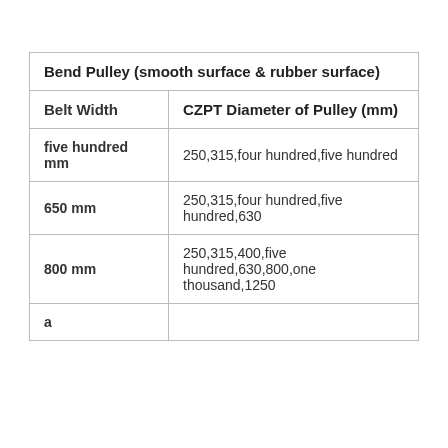| Belt Width | CZPT Diameter of Pulley (mm) |
| --- | --- |
| five hundred mm | 250,315,four hundred,five hundred |
| 650 mm | 250,315,four hundred,five hundred,630 |
| 800 mm | 250,315,400,five hundred,630,800,one thousand,1250 |
| a |  |